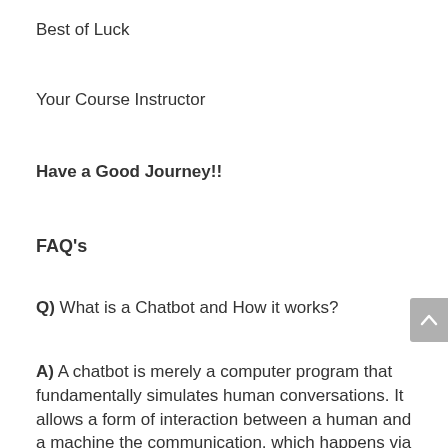Best of Luck
Your Course Instructor
Have a Good Journey!!
FAQ's
Q) What is a Chatbot and How it works?
A) A chatbot is merely a computer program that fundamentally simulates human conversations. It allows a form of interaction between a human and a machine the communication, which happens via messages or voice